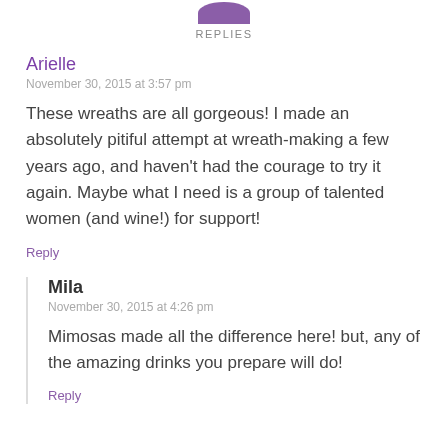[Figure (illustration): Partial purple avatar icon at top center]
REPLIES
Arielle
November 30, 2015 at 3:57 pm
These wreaths are all gorgeous! I made an absolutely pitiful attempt at wreath-making a few years ago, and haven't had the courage to try it again. Maybe what I need is a group of talented women (and wine!) for support!
Reply
Mila
November 30, 2015 at 4:26 pm
Mimosas made all the difference here! but, any of the amazing drinks you prepare will do!
Reply